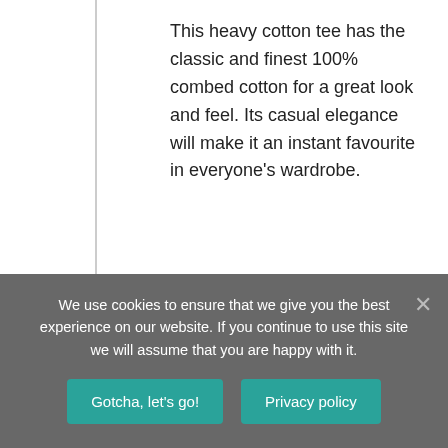This heavy cotton tee has the classic and finest 100% combed cotton for a great look and feel. Its casual elegance will make it an instant favourite in everyone's wardrobe.
Comes in different colours, and sizes.
T-Shirt Specifications:
.: 100% Cotton (fiber content may
We use cookies to ensure that we give you the best experience on our website. If you continue to use this site we will assume that you are happy with it.